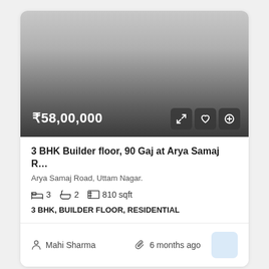[Figure (photo): Property listing card image area with gradient from light grey to dark grey, showing price overlay]
₹58,00,000
3 BHK Builder floor, 90 Gaj at Arya Samaj R…
Arya Samaj Road, Uttam Nagar.
3  2  810 sqft
3 BHK, BUILDER FLOOR, RESIDENTIAL
Mahi Sharma
6 months ago